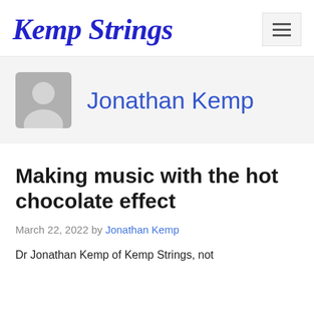Kemp Strings
[Figure (other): Generic user avatar icon — a silhouette of a person in a rounded square, grey fill]
Jonathan Kemp
Making music with the hot chocolate effect
March 22, 2022 by Jonathan Kemp
Dr Jonathan Kemp of Kemp Strings, not